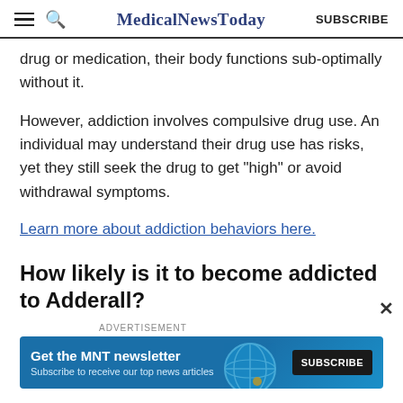MedicalNewsToday SUBSCRIBE
drug or medication, their body functions sub-optimally without it.
However, addiction involves compulsive drug use. An individual may understand their drug use has risks, yet they still seek the drug to get “high” or avoid withdrawal symptoms.
Learn more about addiction behaviors here.
How likely is it to become addicted to Adderall?
[Figure (infographic): Advertisement banner for MNT newsletter with blue background. Text: Get the MNT newsletter. Subscribe to receive our top news articles. Subscribe button on right.]